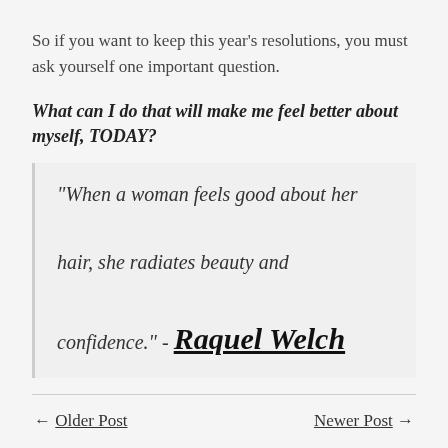So if you want to keep this year's resolutions, you must ask yourself one important question.
What can I do that will make me feel better about myself, TODAY?
"When a woman feels good about her hair, she radiates beauty and confidence." - Raquel Welch
← Older Post    Newer Post →